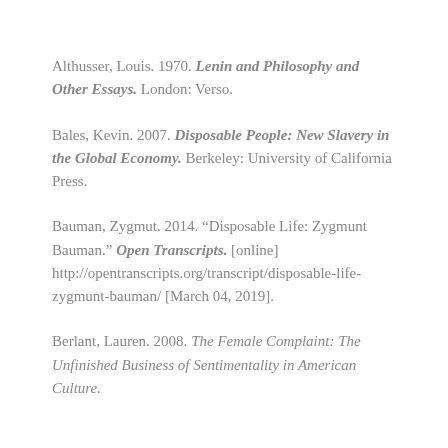Althusser, Louis. 1970. Lenin and Philosophy and Other Essays. London: Verso.
Bales, Kevin. 2007. Disposable People: New Slavery in the Global Economy. Berkeley: University of California Press.
Bauman, Zygmut. 2014. “Disposable Life: Zygmunt Bauman.” Open Transcripts. [online] http://opentranscripts.org/transcript/disposable-life-zygmunt-bauman/ [March 04, 2019].
Berlant, Lauren. 2008. The Female Complaint: The Unfinished Business of Sentimentality in American Culture.